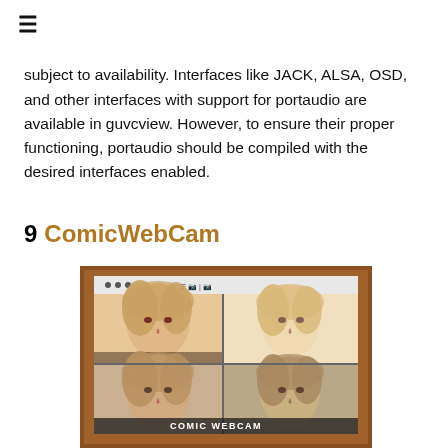≡
subject to availability. Interfaces like JACK, ALSA, OSD, and other interfaces with support for portaudio are available in guvcview. However, to ensure their proper functioning, portaudio should be compiled with the desired interfaces enabled.
9 ComicWebCam
[Figure (photo): Screenshot of ComicWebCam application showing a 2x2 grid of webcam views of a blond woman with different filters applied. The app interface has a wooden frame. At the bottom a label reads 'COMIC WEBCAM'.]